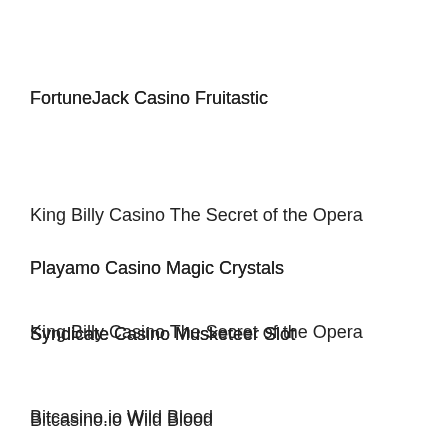FortuneJack Casino Fruitastic
King Billy Casino The Secret of the Opera
Playamo Casino Magic Crystals
Syndicate Casino Musketeer Slot
Bitcasino.io Wild Blood